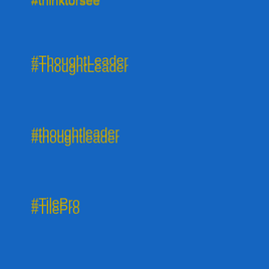#thinktorsee
#ThoughtLeader
#thoughtleader
#TilePro
#ToDoist
#Tool
#Top10
#Toronto
#tradecraft
#Tradecraft